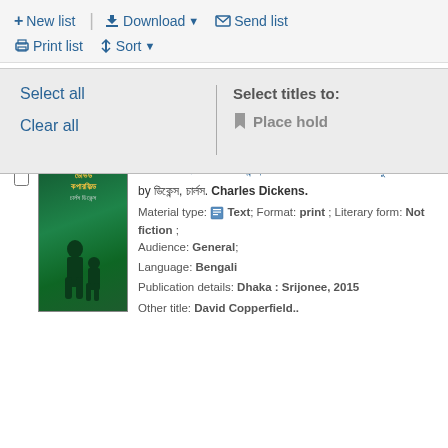+ New list | Download ▼  Send list  Print list  Sort ▼
Select all
Clear all
| Select titles to:
🔖 Place hold
[Figure (photo): Book cover showing Bengali text and two silhouette figures (adult and child) against a green background]
ডেভিড কপারফিল্ড / চার্লস ডিকেন্স; অন বেডফোর্ড আলমে বাংলা অনুবাদ ডেভিড.
by ডিকেন্স, চার্লস. Charles Dickens.
Material type: Text; Format: print ; Literary form: Not fiction ; Audience: General;
Language: Bengali
Publication details: Dhaka : Srijonee, 2015
Other title: David Copperfield..